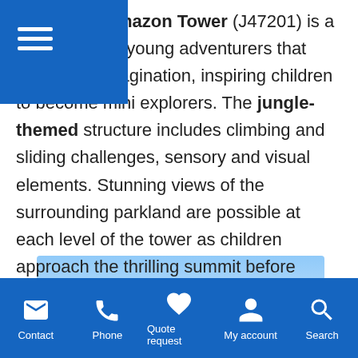metre high Amazon Tower (J47201) is a focal point for young adventurers that ignites the imagination, inspiring children to become mini explorers. The jungle-themed structure includes climbing and sliding challenges, sensory and visual elements. Stunning views of the surrounding parkland are possible at each level of the tower as children approach the thrilling summit before sliding back to the jungle floor.
[Figure (photo): Product photo of the Amazon Tower climbing structure (J47201), a jungle-themed tower, against a blue sky background.]
Contact | Phone | Quote request | My account | Search